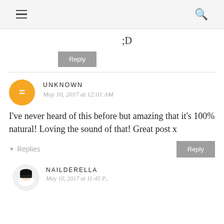hamburger menu | search icon
;D
Reply
UNKNOWN
May 10, 2017 at 12:01 AM
I've never heard of this before but amazing that it's 100% natural! Loving the sound of that! Great post x
Reply
▾ Replies
NAILDERELLA